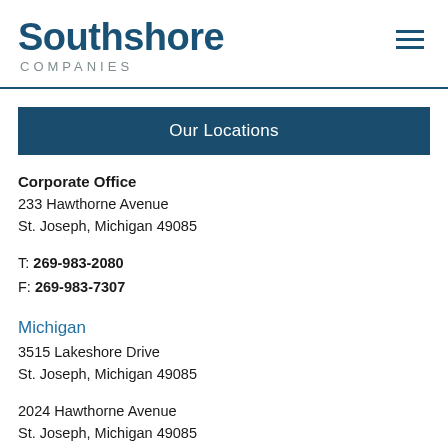Southshore COMPANIES
Our Locations
Corporate Office
233 Hawthorne Avenue
St. Joseph, Michigan 49085
T: 269-983-2080
F: 269-983-7307
Michigan
3515 Lakeshore Drive
St. Joseph, Michigan 49085
2024 Hawthorne Avenue
St. Joseph, Michigan 49085